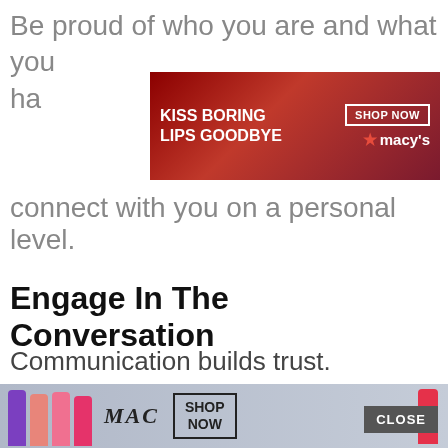Be proud of who you are and what you ha
[Figure (infographic): Macy's advertisement banner: KISS BORING LIPS GOODBYE with SHOP NOW button and Macy's logo on a red background with a woman's face]
connect with you on a personal level.
Engage In The Conversation
Communication builds trust.
When someone engages in your posts,
respond back to them. Show tha
[Figure (infographic): MAC cosmetics advertisement banner with lipsticks and SHOP NOW button]